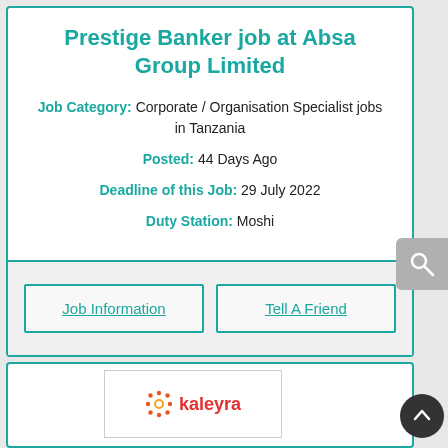Prestige Banker job at Absa Group Limited
Job Category: Corporate / Organisation Specialist jobs in Tanzania
Posted: 44 Days Ago
Deadline of this Job: 29 July 2022
Duty Station: Moshi
Job Information
Tell A Friend
[Figure (logo): Kaleyra logo with orange gear-like icon and red text 'kaleyra']